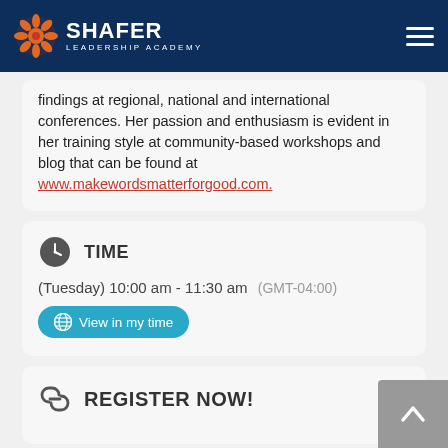SHAFER LEADERSHIP ACADEMY
findings at regional, national and international conferences. Her passion and enthusiasm is evident in her training style at community-based workshops and blog that can be found at www.makewordsmatterforgood.com.
TIME
(Tuesday) 10:00 am - 11:30 am  (GMT-04:00)
View in my time
REGISTER NOW!
CALENDAR   GOOGLECAL